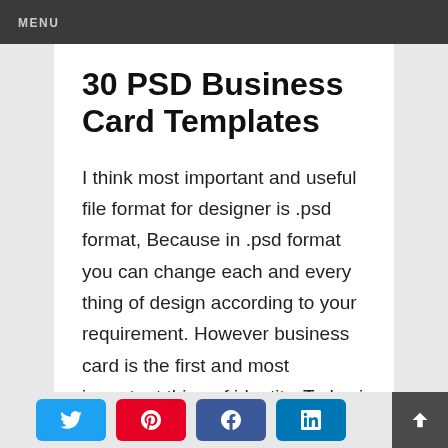MENU
30 PSD Business Card Templates
I think most important and useful file format for designer is .psd format, Because in .psd format you can change each and every thing of design according to your requirement. However business card is the first and most important thing of identity. Today i have